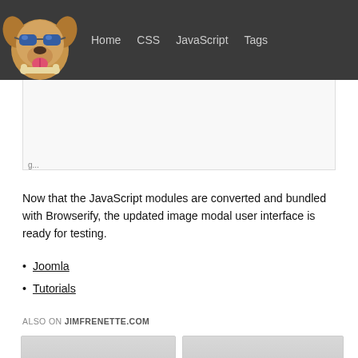Home  CSS  JavaScript  Tags
[Figure (illustration): Dog logo wearing blue sunglasses and holding a bone in its mouth, mascot for jimfrenette.com blog]
Now that the JavaScript modules are converted and bundled with Browserify, the updated image modal user interface is ready for testing.
Joomla
Tutorials
ALSO ON JIMFRENETTE.COM
[Figure (screenshot): Card showing article: 4 years ago • 4 comments — Xdebug for Mac]
[Figure (screenshot): Card showing article: 4 years ago • 12 comments — Completely Blank (no css)]